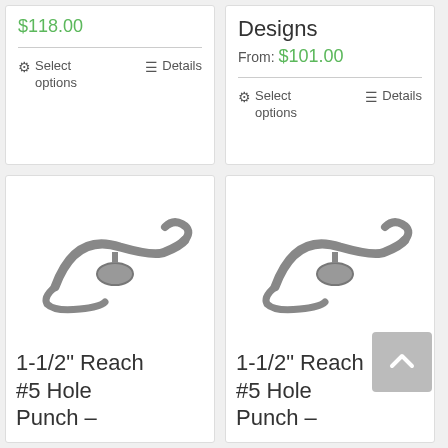$118.00
Select options
Details
Designs From: $101.00
Select options
Details
[Figure (photo): 1-1/2 inch reach #5 hole punch tool, metallic gray]
1-1/2" Reach #5 Hole Punch –
[Figure (photo): 1-1/2 inch reach #5 hole punch tool, metallic gray, second variant]
1-1/2" Reach #5 Hole Punch –